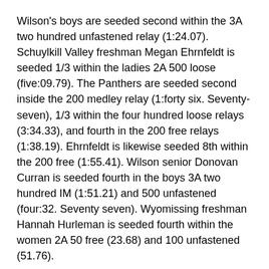Wilson's boys are seeded second within the 3A two hundred unfastened relay (1:24.07). Schuylkill Valley freshman Megan Ehrnfeldt is seeded 1/3 within the ladies 2A 500 loose (five:09.79). The Panthers are seeded second inside the 200 medley relay (1:forty six. Seventy-seven), 1/3 within the four hundred loose relays (3:34.33), and fourth in the 200 free relays (1:38.19). Ehrnfeldt is likewise seeded 8th within the 200 free (1:55.41). Wilson senior Donovan Curran is seeded fourth in the boys 3A two hundred IM (1:51.21) and 500 unfastened (four:32. Seventy seven). Wyomissing freshman Hannah Hurleman is seeded fourth within the women 2A 50 free (23.68) and 100 unfastened (51.76).
Seeded in the pinnacle eight in each their person events are Daniel Boone sophomore Chris Guiliano, 200 IM (fifth, 1:fifty one.90) and 100 unfastened (8th, 45.88) in boys 3A; and